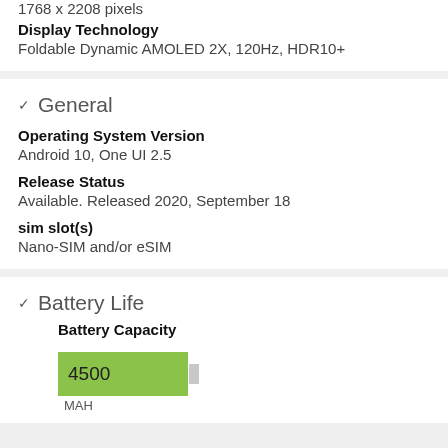1768 x 2208 pixels
Display Technology
Foldable Dynamic AMOLED 2X, 120Hz, HDR10+
General
Operating System Version
Android 10, One UI 2.5
Release Status
Available. Released 2020, September 18
sim slot(s)
Nano-SIM and/or eSIM
Battery Life
Battery Capacity
[Figure (bar-chart): Battery Capacity]
MAH